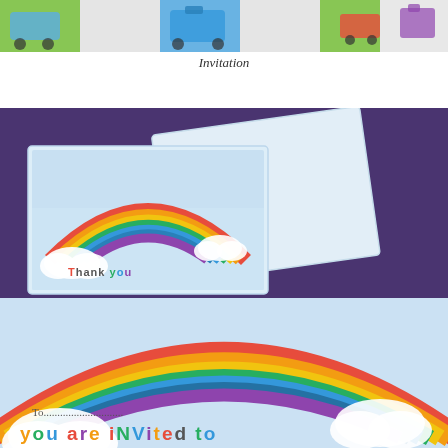[Figure (photo): Top strip showing colorful party invitation cards with bright colors (green, blue, orange, red)]
Invitation
[Figure (photo): Two rainbow-themed cards on a purple background. Front card shows a rainbow with clouds and 'Thank you' text in multicolored letters. Back card is tilted showing light blue background.]
[Figure (photo): Close-up of rainbow invitation card on light blue background showing a colorful arc rainbow with white clouds. Text reads 'To.............' and 'you are iNViTed to' in multicolored letters.]